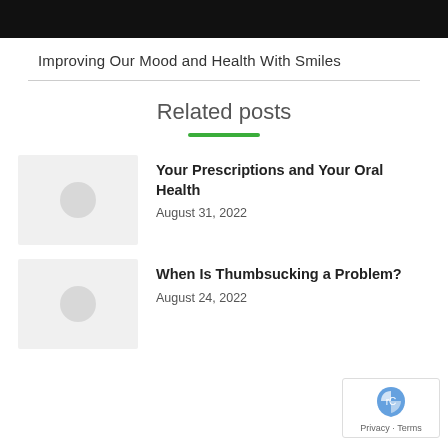Improving Our Mood and Health With Smiles
Related posts
Your Prescriptions and Your Oral Health
August 31, 2022
When Is Thumbsucking a Problem?
August 24, 2022